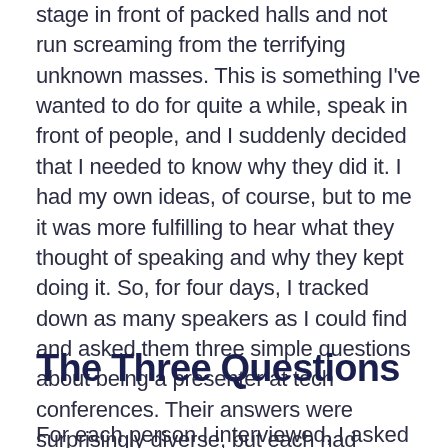stage in front of packed halls and not run screaming from the terrifying unknown masses. This is something I've wanted to do for quite a while, speak in front of people, and I suddenly decided that I needed to know why they did it. I had my own ideas, of course, but to me it was more fulfilling to hear what they thought of speaking and why they kept doing it. So, for four days, I tracked down as many speakers as I could find and asked them three simple questions about being a presenter at tech conferences. Their answers were surprisingly diverse, but each had threads of commonality. Let's see if we can peer into the mind of the tech conference speaker and find out what drives them.
The Three Questions
For each person I interviewed, I asked three questions and